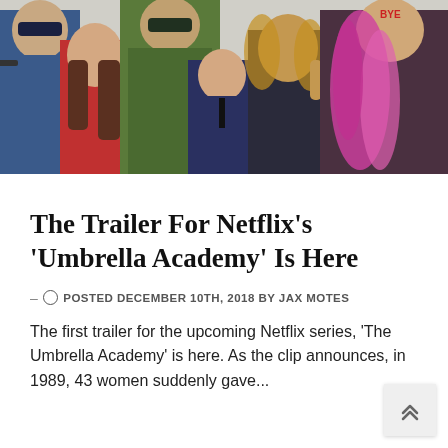[Figure (photo): Promotional photo of the ensemble cast of Netflix's Umbrella Academy, showing multiple characters in costume against a white background]
The Trailer For Netflix's 'Umbrella Academy' Is Here
– POSTED DECEMBER 10TH, 2018 BY JAX MOTES
The first trailer for the upcoming Netflix series, 'The Umbrella Academy' is here.  As the clip announces, in 1989, 43 women suddenly gave...